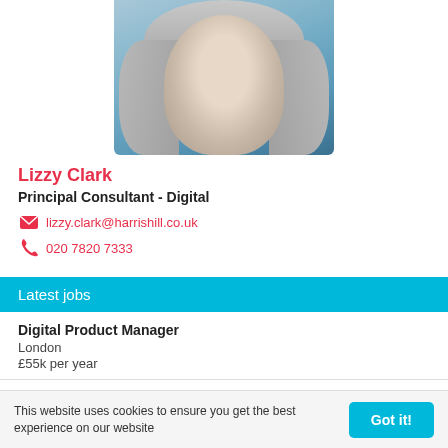[Figure (photo): Profile photo of Lizzy Clark, a woman with blonde hair against a blue/teal background]
Lizzy Clark
Principal Consultant - Digital
lizzy.clark@harrishill.co.uk
020 7820 7333
Latest jobs
Digital Product Manager
London
£55k per year
Digital Fundraising Manager
London
£153.84 - 153.84 per day
This website uses cookies to ensure you get the best experience on our website